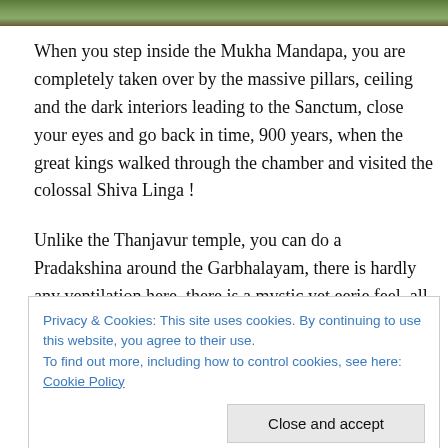[Figure (photo): Partial view of a landscape or temple exterior, cropped at top of page]
When you step inside the Mukha Mandapa, you are completely taken over by the massive pillars, ceiling and the dark interiors leading to the Sanctum, close your eyes and go back in time, 900 years, when the great kings walked through the chamber and visited the colossal Shiva Linga !
Unlike the Thanjavur temple, you can do a Pradakshina around the Garbhalayam, there is hardly any ventilation here, there is a mystic yet eerie feel, all at the sametime.
Privacy & Cookies: This site uses cookies. By continuing to use this website, you agree to their use.
To find out more, including how to control cookies, see here: Cookie Policy
one stands tall at 180 feet but is slightly smaller than the